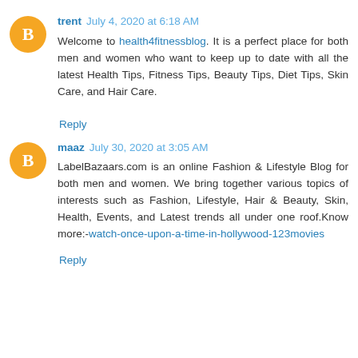trent July 4, 2020 at 6:18 AM
Welcome to health4fitnessblog. It is a perfect place for both men and women who want to keep up to date with all the latest Health Tips, Fitness Tips, Beauty Tips, Diet Tips, Skin Care, and Hair Care.
Reply
maaz July 30, 2020 at 3:05 AM
LabelBazaars.com is an online Fashion & Lifestyle Blog for both men and women. We bring together various topics of interests such as Fashion, Lifestyle, Hair & Beauty, Skin, Health, Events, and Latest trends all under one roof.Know more:-watch-once-upon-a-time-in-hollywood-123movies
Reply